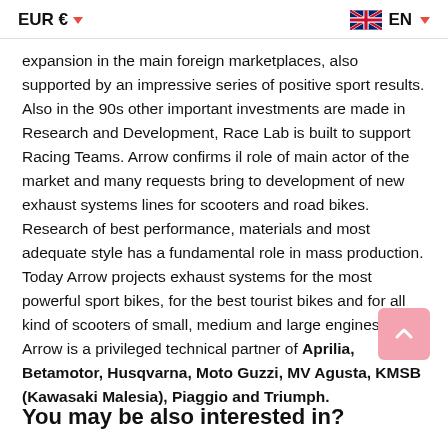EUR € ▼        EN ▼
expansion in the main foreign marketplaces, also supported by an impressive series of positive sport results. Also in the 90s other important investments are made in Research and Development, Race Lab is built to support Racing Teams. Arrow confirms il role of main actor of the market and many requests bring to development of new exhaust systems lines for scooters and road bikes. Research of best performance, materials and most adequate style has a fundamental role in mass production. Today Arrow projects exhaust systems for the most powerful sport bikes, for the best tourist bikes and for all kind of scooters of small, medium and large engines. Arrow is a privileged technical partner of Aprilia, Betamotor, Husqvarna, Moto Guzzi, MV Agusta, KMSB (Kawasaki Malesia), Piaggio and Triumph.
You may be also interested in?